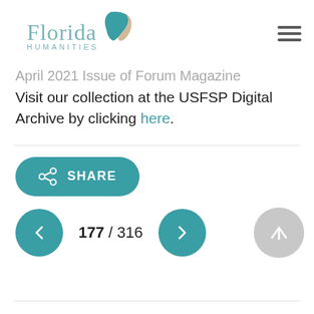Florida Humanities
Visit our collection at the USFSP Digital Archive by clicking here.
[Figure (other): Share button with share icon and text SHARE in teal rounded rectangle]
[Figure (other): Navigation row: left arrow circle, page count 177 / 316, right arrow circle, up arrow circle button]